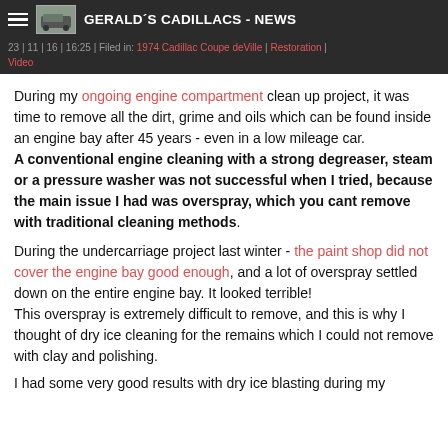GERALD´S CADILLACS - NEWS
23 | 11 | 16 | 16:25 | Filed in: 1974 Cadillac Coupe deVille | Restoration | Video
During my ongoing engine compartment clean up project, it was time to remove all the dirt, grime and oils which can be found inside an engine bay after 45 years - even in a low mileage car. A conventional engine cleaning with a strong degreaser, steam or a pressure washer was not successful when I tried, because the main issue I had was overspray, which you cant remove with traditional cleaning methods.
During the undercarriage project last winter - the paint shop did not cover the engine bay good enough, and a lot of overspray settled down on the entire engine bay. It looked terrible!
This overspray is extremely difficult to remove, and this is why I thought of dry ice cleaning for the remains which I could not remove with clay and polishing.
I had some very good results with dry ice blasting during my